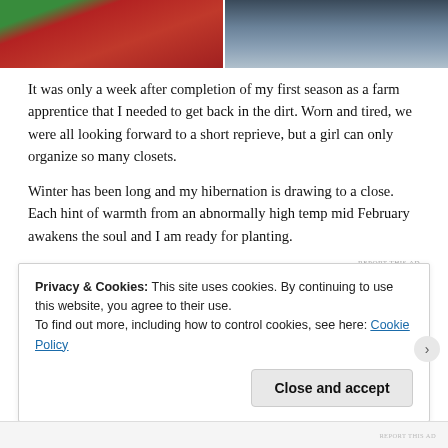[Figure (photo): Two side-by-side cropped photos: left shows a red surface with small metal fixtures; right shows a person holding a black object against a blue-jeans background.]
It was only a week after completion of my first season as a farm apprentice that I needed to get back in the dirt. Worn and tired, we were all looking forward to a short reprieve, but a girl can only organize so many closets.
Winter has been long and my hibernation is drawing to a close. Each hint of warmth from an abnormally high temp mid February awakens the soul and I am ready for planting.
Privacy & Cookies: This site uses cookies. By continuing to use this website, you agree to their use.
To find out more, including how to control cookies, see here: Cookie Policy
Close and accept